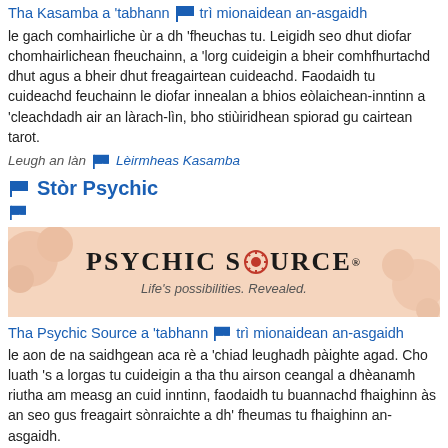Tha Kasamba a 'tabhann 🏴 trì mionaidean an-asgaidh
le gach comhairliche ùr a dh 'fheuchas tu. Leigidh seo dhut diofar chomhairlichean fheuchainn, a 'lorg cuideigin a bheir comhfhurtachd dhut agus a bheir dhut freagairtean cuideachd. Faodaidh tu cuideachd feuchainn le diofar innealan a bhios eòlaichean-inntinn a 'cleachdadh air an làrach-lìn, bho stiùiridhean spiorad gu cairtean tarot.
Leugh an làn 🏴 Lèirmheas Kasamba
🏴 Stòr Psychic
[Figure (illustration): Psychic Source banner with peach/salmon background, decorative flower motifs, bold text reading PSYCHIC SOURCE with a red sun icon replacing the O, and subtitle 'Life's possibilities. Revealed.']
Tha Psychic Source a 'tabhann 🏴 trì mionaidean an-asgaidh
le aon de na saidhgean aca rè a 'chiad leughadh pàighte agad. Cho luath 's a lorgas tu cuideigin a tha thu airson ceangal a dhèanamh riutha am measg an cuid inntinn, faodaidh tu buannachd fhaighinn às an seo gus freagairt sònraichte a dh' fheumas tu fhaighinn an-asgaidh.